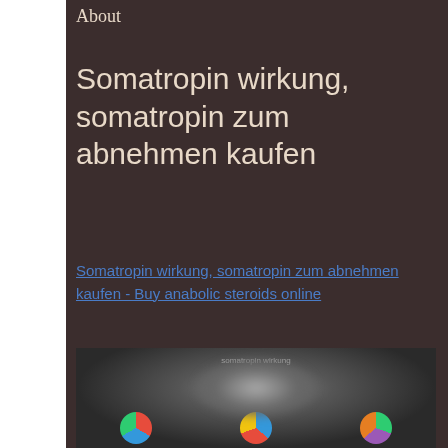About
Somatropin wirkung, somatropin zum abnehmen kaufen
Somatropin wirkung, somatropin zum abnehmen kaufen - Buy anabolic steroids online
[Figure (photo): Blurred dark image showing a figure and three circular icons at the bottom]